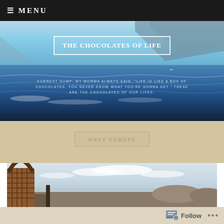≡ MENU
[Figure (photo): Ocean/sea view with mountain silhouette in background, blue water with waves, bright sky]
THE CHOCOLATES OF LIFE
FORREST GUMP: MY MOMMA ALWAYS SAID, "LIFE IS LIKE A BOX OF CHOCOLATES, YOU NEVER KNOW WHAT YOU'RE GONNA GET." THESE ARE THE CHOCOLATES OF OUR LIVES.
WEST EUROPE
[Figure (photo): Coastal scene with woven basket/bag in foreground, rocky coastline, sea and cloudy sky in background]
Follow  •••